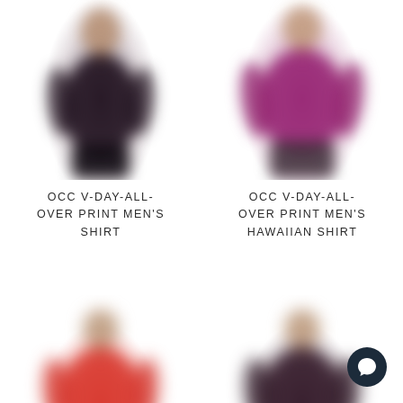[Figure (photo): Blurred photo of a man wearing a dark navy/black V-neck short sleeve shirt, top-left product]
[Figure (photo): Blurred photo of a man wearing a purple/magenta Hawaiian short sleeve shirt, top-right product]
OCC V-DAY-ALL-OVER PRINT MEN'S SHIRT
OCC V-DAY-ALL-OVER PRINT MEN'S HAWAIIAN SHIRT
[Figure (photo): Blurred photo of a man wearing a red Hawaiian short sleeve shirt, bottom-left product]
[Figure (photo): Blurred photo of a man wearing a dark/maroon Hawaiian short sleeve shirt, bottom-right product]